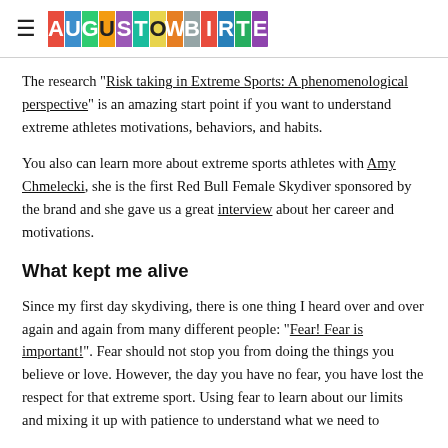≡ AUGUSTOWBIRTELLE (logo)
The research "Risk taking in Extreme Sports: A phenomenological perspective" is an amazing start point if you want to understand extreme athletes motivations, behaviors, and habits.
You also can learn more about extreme sports athletes with Amy Chmelecki, she is the first Red Bull Female Skydiver sponsored by the brand and she gave us a great interview about her career and motivations.
What kept me alive
Since my first day skydiving, there is one thing I heard over and over again and again from many different people: "Fear! Fear is important!". Fear should not stop you from doing the things you believe or love. However, the day you have no fear, you have lost the respect for that extreme sport. Using fear to learn about our limits and mixing it up with patience to understand what we need to